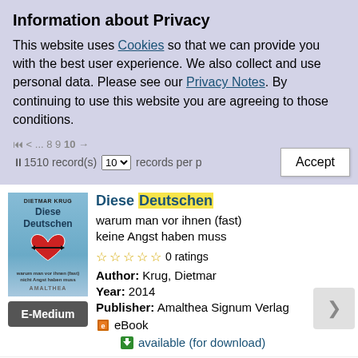Information about Privacy
This website uses Cookies so that we can provide you with the best user experience. We also collect and use personal data. Please see our Privacy Notes. By continuing to use this website you are agreeing to those conditions.
1510 record(s)  10  records per page
[Figure (screenshot): Book catalog listing showing 'Diese Deutschen' with cover image, E-Medium badge, subtitle, star ratings, author, year, publisher, ebook and download info. Below it, start of 'Die Deutschen' entry.]
Diese Deutschen
warum man vor ihnen (fast) keine Angst haben muss
0 ratings
Author: Krug, Dietmar
Year: 2014
Publisher: Amalthea Signum Verlag
eBook
available (for download)
Die Deutschen
vom Mittelalter bis zum 20.